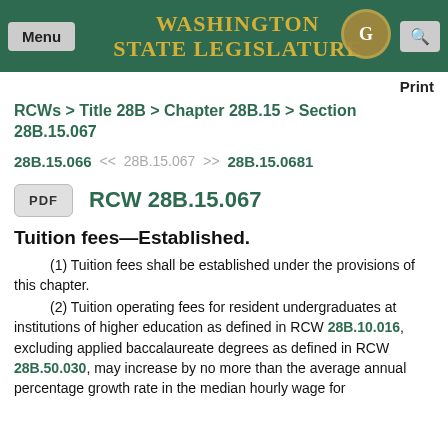Washington State Legislature
Print
RCWs > Title 28B > Chapter 28B.15 > Section 28B.15.067
28B.15.066  <<  28B.15.067  >>  28B.15.0681
RCW 28B.15.067
Tuition fees—Established.
(1) Tuition fees shall be established under the provisions of this chapter.
(2) Tuition operating fees for resident undergraduates at institutions of higher education as defined in RCW 28B.10.016, excluding applied baccalaureate degrees as defined in RCW 28B.50.030, may increase by no more than the average annual percentage growth rate in the median hourly wage for